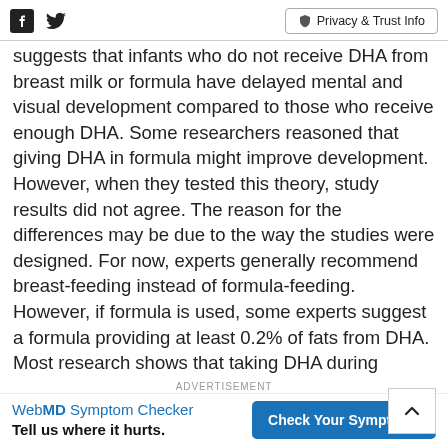Facebook | Twitter | Privacy & Trust Info
suggests that infants who do not receive DHA from breast milk or formula have delayed mental and visual development compared to those who receive enough DHA. Some researchers reasoned that giving DHA in formula might improve development. However, when they tested this theory, study results did not agree. The reason for the differences may be due to the way the studies were designed. For now, experts generally recommend breast-feeding instead of formula-feeding. However, if formula is used, some experts suggest a formula providing at least 0.2% of fats from DHA. Most research shows that taking DHA during pregnancy does not improve fetal development [image] or infant development after birth. However, it might increase the weight and length of the baby at birth, as well as language development and ability to sleep after birth.
ADVERTISEMENT
[Figure (infographic): WebMD Symptom Checker ad banner with 'Tell us where it hurts.' text and 'Check Your Symptoms' button]